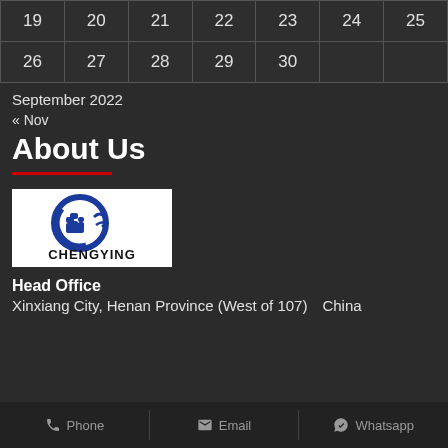|  |  |  |  |  |  |  |
| --- | --- | --- | --- | --- | --- | --- |
| 19 | 20 | 21 | 22 | 23 | 24 | 25 |
| 26 | 27 | 28 | 29 | 30 |  |  |
September 2022
« Nov
About Us
[Figure (logo): Chengying logo - blue circular dragon/fist symbol with CHENGYING text below, on white background]
Head Office
Xinxiang City, Henan Province (West of 107)　China
Phone   Email   Whatsapp